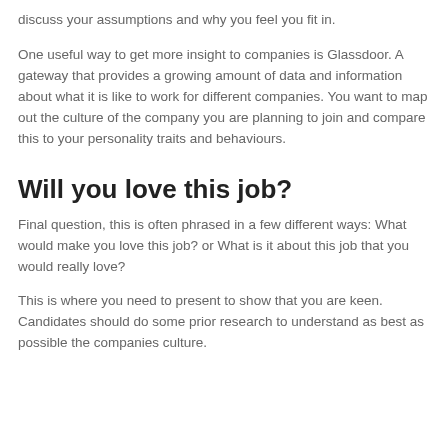discuss your assumptions and why you feel you fit in.
One useful way to get more insight to companies is Glassdoor. A gateway that provides a growing amount of data and information about what it is like to work for different companies. You want to map out the culture of the company you are planning to join and compare this to your personality traits and behaviours.
Will you love this job?
Final question, this is often phrased in a few different ways: What would make you love this job? or What is it about this job that you would really love?
This is where you need to present to show that you are keen. Candidates should do some prior research to understand as best as possible the companies culture.